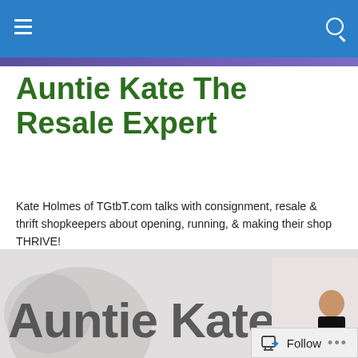Auntie Kate The Resale Expert
Kate Holmes of TGtbT.com talks with consignment, resale & thrift shopkeepers about opening, running, & making their shop THRIVE!
[Figure (illustration): Auntie Kate The Resale Expert banner logo with stylized text and a woman sitting on a red chair holding shopping bags]
It's not enough to say